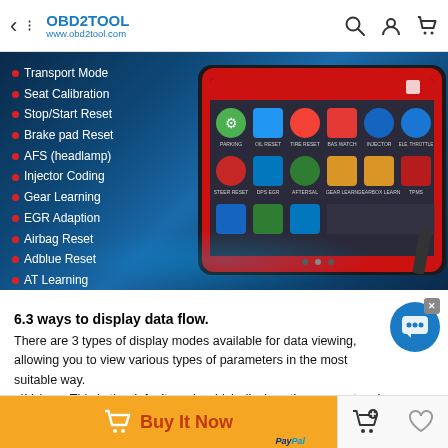OBD2TOOL www.obd2tool.com
[Figure (photo): OBD2 diagnostic tablet device showing service reset menu with features listed: Transport Mode, Seat Calibration, Stop/Start Reset, Brake pad Reset, AFS (headlamp), Injector Coding, Gear Learning, EGR Adaption, Airbag Reset, Adblue Reset, AT Learning, Immobilize, Tyre Reset]
6.3 ways to display data flow.
There are 3 types of display modes available for data viewing, allowing you to view various types of parameters in the most suitable way.
a)Value – This is the default mode which displays the parameters in text and value list format.